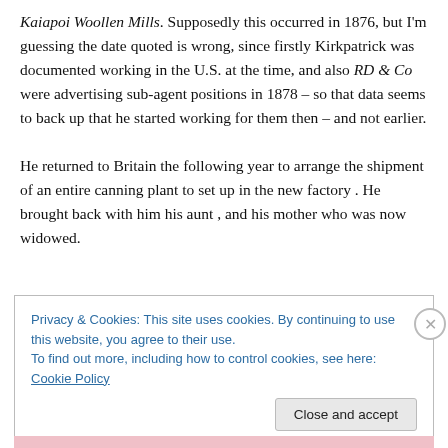Kaiapoi Woollen Mills. Supposedly this occurred in 1876, but I'm guessing the date quoted is wrong, since firstly Kirkpatrick was documented working in the U.S. at the time, and also RD & Co were advertising sub-agent positions in 1878 – so that data seems to back up that he started working for them then – and not earlier.

He returned to Britain the following year to arrange the shipment of an entire canning plant to set up in the new factory . He brought back with him his aunt , and his mother who was now widowed.
Privacy & Cookies: This site uses cookies. By continuing to use this website, you agree to their use.
To find out more, including how to control cookies, see here: Cookie Policy